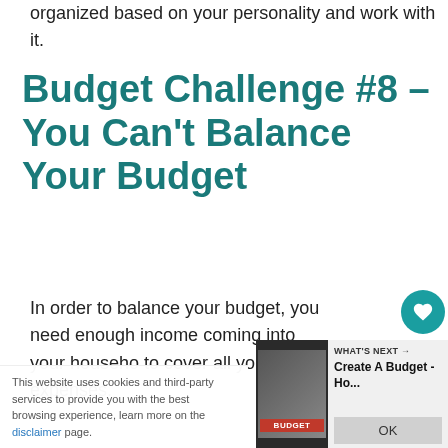organized based on your personality and work with it.
Budget Challenge #8 – You Can't Balance Your Budget
In order to balance your budget, you need enough income coming into your household to cover all your expenses.
[Figure (infographic): Heart/like button (teal circle with white heart icon) and share button below it, with count '1' between them — social sharing widget overlaying the body text.]
[Figure (screenshot): WHAT'S NEXT card showing 'Create A Budget - Ho...' with a budget book thumbnail image.]
This website uses cookies and third-party services to provide you with the best browsing experience, learn more on the disclaimer page.